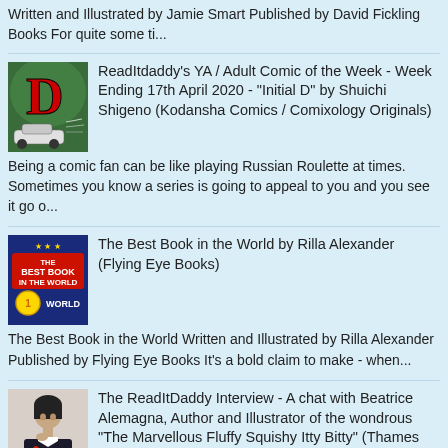Written and Illustrated by Jamie Smart Published by David Fickling Books For quite some ti...
ReadItdaddy's YA / Adult Comic of the Week - Week Ending 17th April 2020 - "Initial D" by Shuichi Shigeno (Kodansha Comics / Comixology Originals)
Being a comic fan can be like playing Russian Roulette at times. Sometimes you know a series is going to appeal to you and you see it go o...
The Best Book in the World by Rilla Alexander (Flying Eye Books)
The Best Book in the World Written and Illustrated by Rilla Alexander Published by Flying Eye Books It's a bold claim to make - when...
The ReadItDaddy Interview - A chat with Beatrice Alemagna, Author and Illustrator of the wondrous "The Marvellous Fluffy Squishy Itty Bitty" (Thames and Hudson)
We're very lucky to have a guest on the blog today to celebrate the